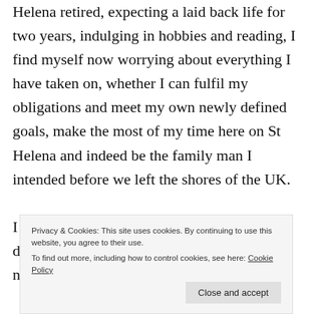Helena retired, expecting a laid back life for two years, indulging in hobbies and reading, I find myself now worrying about everything I have taken on, whether I can fulfil my obligations and meet my own newly defined goals, make the most of my time here on St Helena and indeed be the family man I intended before we left the shores of the UK.

I look back a few weeks, to a time where, despite falling in love with St Helena, I was not in love with
Privacy & Cookies: This site uses cookies. By continuing to use this website, you agree to their use.
To find out more, including how to control cookies, see here: Cookie Policy